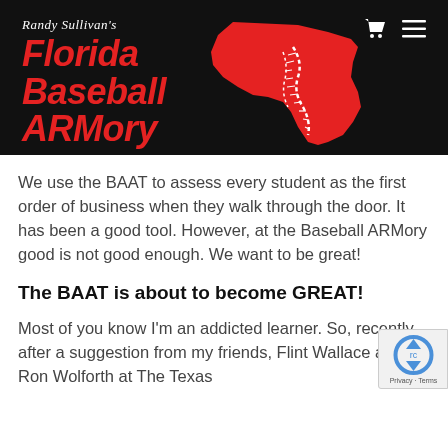[Figure (logo): Randy Sullivan's Florida Baseball ARMory logo — white italic script 'Randy Sullivan's' above large red bold italic text 'Florida Baseball ARMory' with a red silhouette of Florida state overlaid with baseball stitching, on a black background. Cart and hamburger menu icons in white top right.]
We use the BAAT to assess every student as the first order of business when they walk through the door. It has been a good tool. However, at the Baseball ARMory good is not good enough. We want to be great!
The BAAT is about to become GREAT!
Most of you know I'm an addicted learner. So, recently, after a suggestion from my friends, Flint Wallace and Ron Wolforth at The Texas